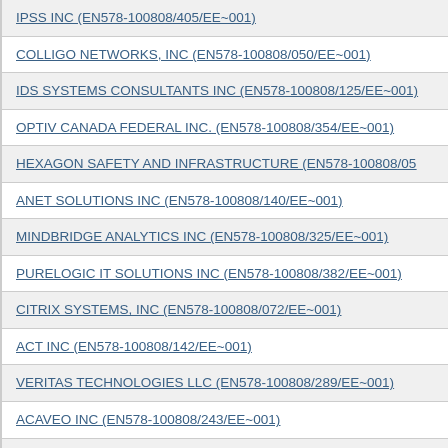IPSS INC (EN578-100808/405/EE~001)
COLLIGO NETWORKS, INC (EN578-100808/050/EE~001)
IDS SYSTEMS CONSULTANTS INC (EN578-100808/125/EE~001)
OPTIV CANADA FEDERAL INC. (EN578-100808/354/EE~001)
HEXAGON SAFETY AND INFRASTRUCTURE (EN578-100808/05…)
ANET SOLUTIONS INC (EN578-100808/140/EE~001)
MINDBRIDGE ANALYTICS INC (EN578-100808/325/EE~001)
PURELOGIC IT SOLUTIONS INC (EN578-100808/382/EE~001)
CITRIX SYSTEMS, INC (EN578-100808/072/EE~001)
ACT INC (EN578-100808/142/EE~001)
VERITAS TECHNOLOGIES LLC (EN578-100808/289/EE~001)
ACAVEO INC (EN578-100808/243/EE~001)
ECLIPSYS SOLUTIONS INC (EN578-100808/361/EE~001)
THE VCAN GROUP INC (EN578-100808/302/EE~001)
EMC CORPORATION OF CANADA (EN578-100808/052/EE~001)